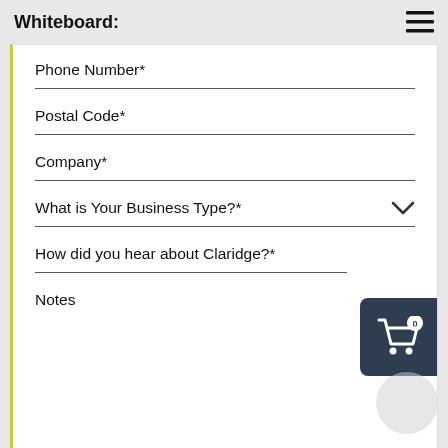Whiteboard:
Phone Number*
Postal Code*
Company*
What is Your Business Type?*
How did you hear about Claridge?*
Notes